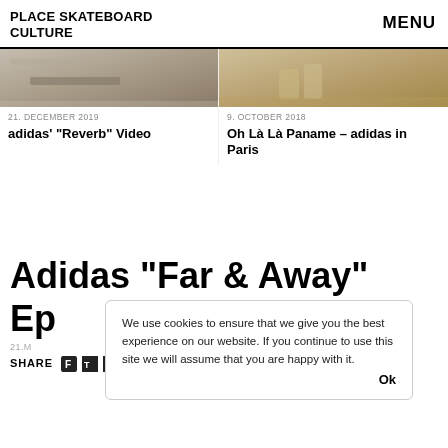PLACE SKATEBOARD CULTURE   MENU
[Figure (photo): Left card image: skateboard location, stone/concrete surface]
21. DECEMBER 2019
adidas’ “Reverb” Video
[Figure (photo): Right card image: skateboard rail detail, golden/metal tones]
9. OCTOBER 2018
Oh Là Là Paname – adidas in Paris
Adidas “Far & Away”
Ep
21.M
SHARE
We use cookies to ensure that we give you the best experience on our website. If you continue to use this site we will assume that you are happy with it.   Ok